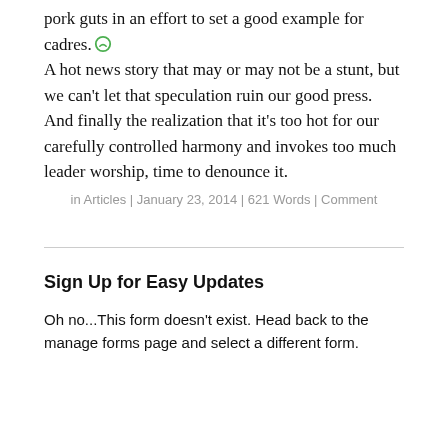pork guts in an effort to set a good example for cadres. A hot news story that may or may not be a stunt, but we can't let that speculation ruin our good press. And finally the realization that it's too hot for our carefully controlled harmony and invokes too much leader worship, time to denounce it.
in Articles | January 23, 2014 | 621 Words | Comment
Sign Up for Easy Updates
Oh no...This form doesn't exist. Head back to the manage forms page and select a different form.